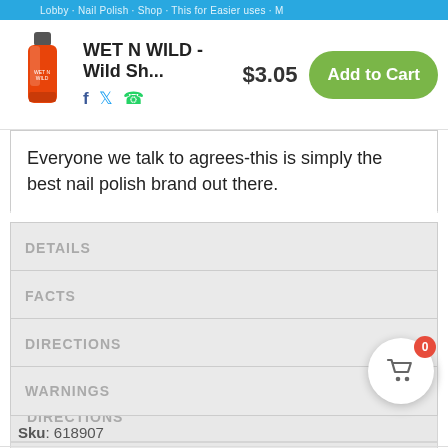WET N WILD - Wild Sh... $3.05 Add to Cart
Everyone we talk to agrees-this is simply the best nail polish brand out there.
DETAILS
FACTS
DIRECTIONS
WARNINGS
Sku: 618907
In stock!